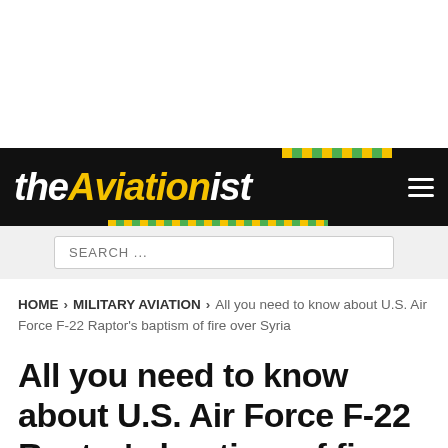THE AVIATIONIST
SEARCH ...
HOME > MILITARY AVIATION > All you need to know about U.S. Air Force F-22 Raptor's baptism of fire over Syria
All you need to know about U.S. Air Force F-22 Raptor's baptism of fire over Syria